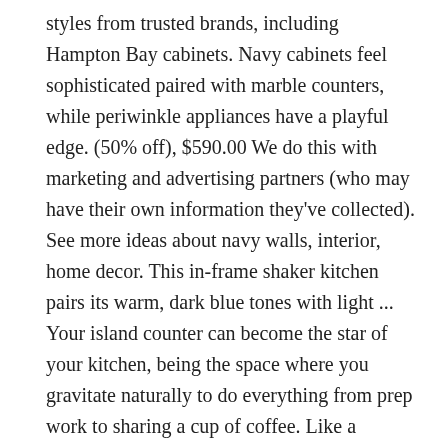styles from trusted brands, including Hampton Bay cabinets. Navy cabinets feel sophisticated paired with marble counters, while periwinkle appliances have a playful edge. (50% off), $590.00 We do this with marketing and advertising partners (who may have their own information they've collected). See more ideas about navy walls, interior, home decor. This in-frame shaker kitchen pairs its warm, dark blue tones with light ... Your island counter can become the star of your kitchen, being the space where you gravitate naturally to do everything from prep work to sharing a cup of coffee. Like a midnight blue sky or the waters of the deep blue sea, navy blue will add depth to any space you use it in. Get the look: The kitchen units were designed and made by Meson's. This cooking space by Bureau de Change is equipped with a matte brass faucet and chrome plated pot filler. Original Price $19.00" Thinking of hardware? Its also the perfect space to add a splash of color, creating